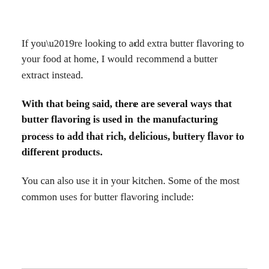If you’re looking to add extra butter flavoring to your food at home, I would recommend a butter extract instead.
With that being said, there are several ways that butter flavoring is used in the manufacturing process to add that rich, delicious, buttery flavor to different products.
You can also use it in your kitchen. Some of the most common uses for butter flavoring include: